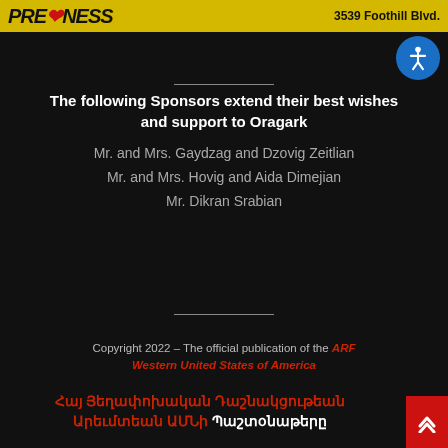FIRE FITNESS 3539 Foothill Blvd.
The following Sponsors extend their best wishes and support to Oragark
Mr. and Mrs. Gaydzag and Dzovig Zeitlian
Mr. and Mrs. Hovig and Aida Dimejian
Mr. Dikran Srabian
Copyright 2022 - The official publication of the ARF Western United States of America
Հայ Յեղափոխական Դաշնակցութեան Արեւմտեան ԱՄՆի Պաշտօնաթերը